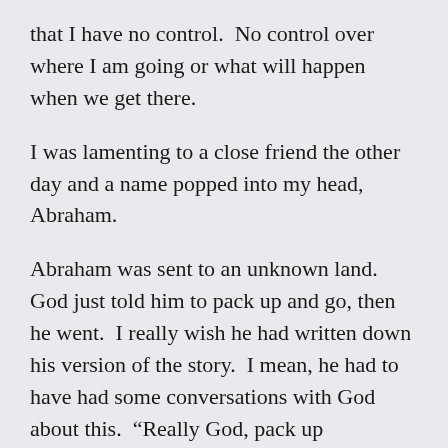that I have no control.  No control over where I am going or what will happen when we get there.
I was lamenting to a close friend the other day and a name popped into my head, Abraham.
Abraham was sent to an unknown land.  God just told him to pack up and go, then he went.  I really wish he had written down his version of the story.  I mean, he had to have had some conversations with God about this.  “Really God, pack up everything?  I know you promised me my own nation, but you told me pack up and start walking to an unknown place.  Are you sure?”
Whether or not Abraham had this conversation or